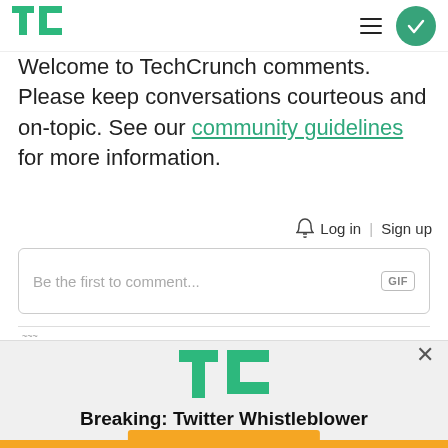[Figure (logo): TechCrunch logo (TC in green) in the page header]
Welcome to TechCrunch comments. Please keep conversations courteous and on-topic. See our community guidelines for more information.
Log in | Sign up
Be the first to comment...
[Figure (logo): TechCrunch TC logo in green inside popup overlay]
Breaking: Twitter Whistleblower
READ NOW